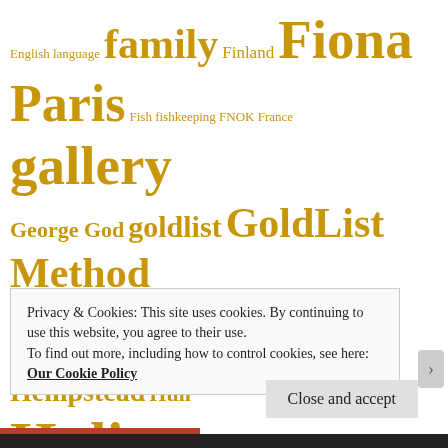[Figure (other): Tag cloud of topics/keywords in gold color including: English language, family, Finland, Fiona, Paris, Fish, fishkeeping, FNOK, France, gallery, George, God, goldlist, GoldList Method, Google, gospel, grammar, Grupa Strategia, Hemel Hempstead, Huli, Huliganov, Huliganov's Russian Course, Hulirant, hymn, Istanbul, James Whale, Jesus, Jesus Christ, Jimmy and the Pink Diamond, Joe Becker, Jo McAfferty, Kaczynski, Karaoke, Krzysztof Orlowski, Language, Language acquisition, language learning]
Privacy & Cookies: This site uses cookies. By continuing to use this website, you agree to their use.
To find out more, including how to control cookies, see here: Our Cookie Policy
Close and accept